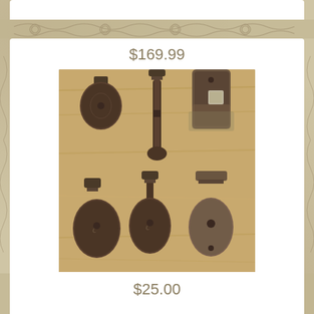$169.99
[Figure (photo): Six antique cast iron barn door rollers arranged in two rows on a wooden surface. Items are dark brown/black with visible aging and patina.]
ANTIQUE VTG EARLY 1900S CAST IRON FE MYERS STAY ON BARN DOOR ROLLER PAIR 2 MORE
$25.00